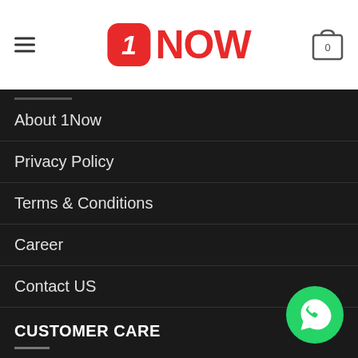1NOW — navigation header with hamburger menu and cart icon showing 0
About 1Now
Privacy Policy
Terms & Conditions
Career
Contact US
CUSTOMER CARE
Payment Options
Delivery & Installation
[Figure (logo): WhatsApp floating action button (green circle with WhatsApp icon)]